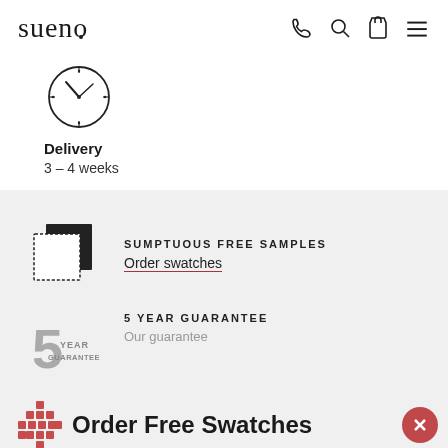sueno
[Figure (illustration): Clock icon showing approximately 10:10 time, circular outline with hour and minute hands]
Delivery
3 – 4 weeks
[Figure (illustration): Two overlapping fabric swatch squares icon, one dark and one light with dotted border]
SUMPTUOUS FREE SAMPLES
Order swatches
[Figure (illustration): 5 Year Guarantee badge logo in gray]
5 YEAR GUARANTEE
Our guarantee
[Figure (logo): Overlay bar with decorative cross/snowflake logo in red and text Order Free Swatches with close X button]